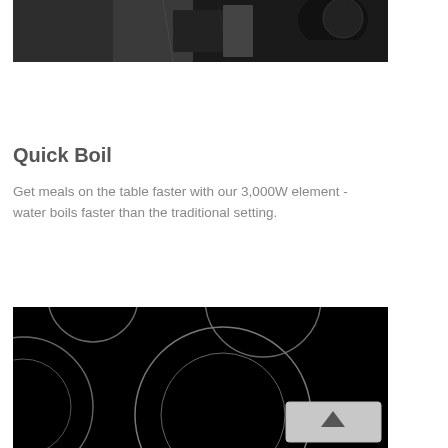[Figure (photo): Partial view of a kitchen appliance or stove, dark tones, cropped at top of page]
Quick Boil
Get meals on the table faster with our 3,000W element - water boils faster than the traditional setting.
[Figure (photo): Black electric glass cooktop surface showing circular burner elements from above]